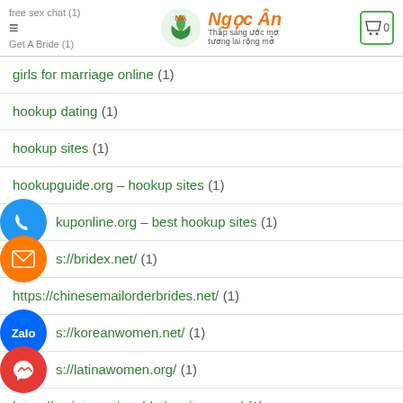free sex chat (1) | Ngoc An – Thap sang uoc mo tuong lai rong mo | Get A Bride (1)
girls for marriage online (1)
hookup dating (1)
hookup sites (1)
hookupguide.org – hookup sites (1)
hokuponline.org – best hookup sites (1)
https://bridex.net/ (1)
https://chinesemailorderbrides.net/ (1)
https://koreanwomen.net/ (1)
https://latinawomen.org/ (1)
https://topinternationaldatingsites.com/ (1)